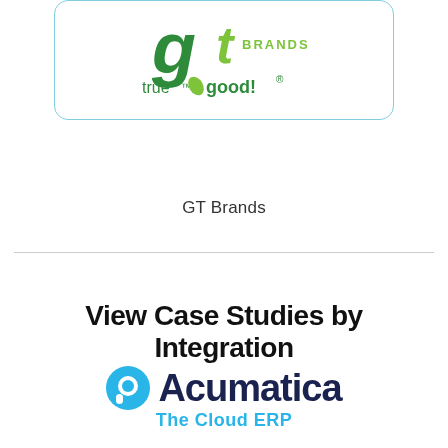[Figure (logo): GT Brands logo with 'gt' letters in dark and light green, 'BRANDS' text, and 'true good!' tagline in green, inside a rounded rectangle with light blue border]
GT Brands
View Case Studies by Integration
[Figure (logo): Acumatica logo with cyan circular speech-bubble icon and 'Acumatica' in dark navy bold text, with 'The Cloud ERP' in cyan below]